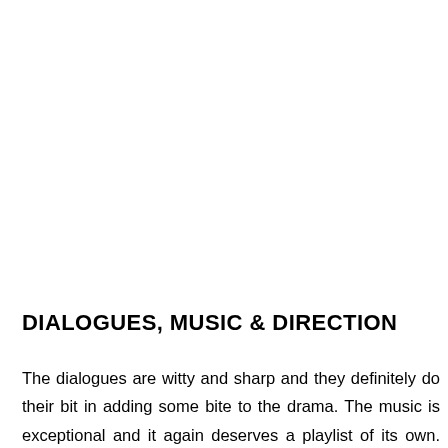DIALOGUES, MUSIC & DIRECTION
The dialogues are witty and sharp and they definitely do their bit in adding some bite to the drama. The music is exceptional and it again deserves a playlist of its own. The BGM is outstanding and portrays the emotions pretty